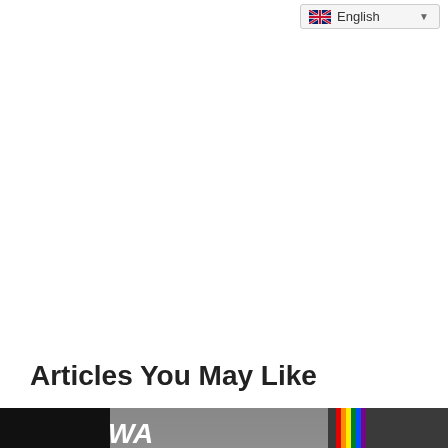English
Articles You May Like
[Figure (screenshot): Video thumbnail showing a person in a blue shirt in a hallway with 'WATCH NOW' text and a red SUBSCRIBE button overlay]